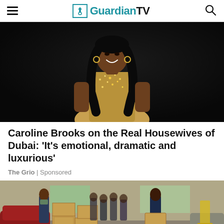Guardian TV
[Figure (photo): A woman in a glittering gold outfit smiling against a dark background]
Caroline Brooks on the Real Housewives of Dubai: ‘It’s emotional, dramatic and luxurious’
The Grio | Sponsored
[Figure (photo): People carrying boxes of goods in what appears to be a warehouse or garage setting]